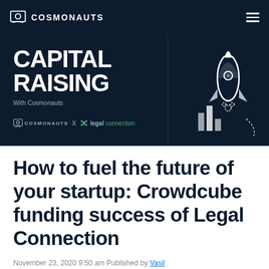COSMONAUTS
[Figure (illustration): Capital Raising with Cosmonauts banner — dark navy background with large bold white text 'CAPITAL RAISING', subtitle 'With Cosmonauts', logos of COSMONAUTS x legalconnection, and a rocket illustration on the right side with bar chart icons]
How to fuel the future of your startup: Crowdcube funding success of Legal Connection
November 23, 2020 9:50 am Published by Vasil